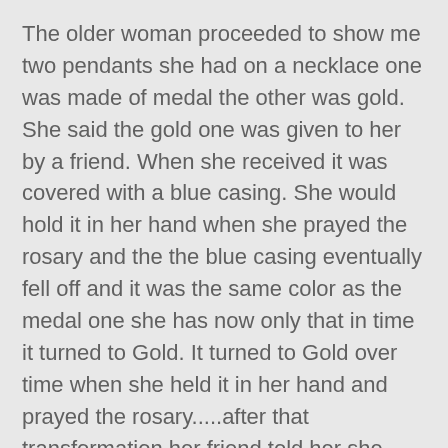The older woman proceeded to show me two pendants she had on a necklace one was made of medal the other was gold. She said the gold one was given to her by a friend. When she received it was covered with a blue casing. She would hold it in her hand when she prayed the rosary and the the blue casing eventually fell off and it was the same color as the medal one she has now only that in time it turned to Gold. It turned to Gold over time when she held it in her hand and prayed the rosary.....after that transformation her friend told her she should get a license plate that says "LUVMARY".....here it is!!!!